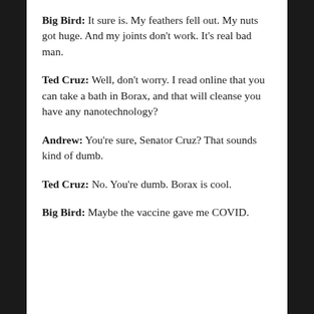Big Bird: It sure is. My feathers fell out. My nuts got huge. And my joints don't work. It's real bad man.
Ted Cruz: Well, don't worry. I read online that you can take a bath in Borax, and that will cleanse you have any nanotechnology?
Andrew: You're sure, Senator Cruz? That sounds kind of dumb.
Ted Cruz: No. You're dumb. Borax is cool.
Big Bird: Maybe the vaccine gave me COVID.